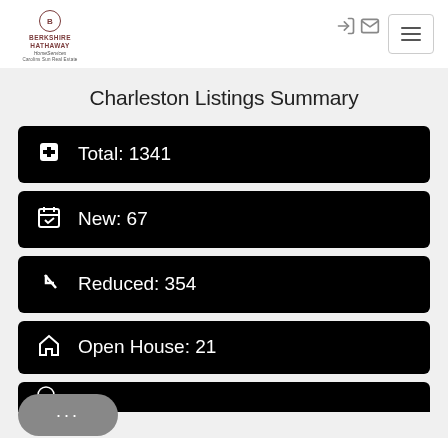[Figure (logo): Berkshire Hathaway HomeServices Carolinas Sun Real Estate logo]
Charleston Listings Summary
Total: 1341
New: 67
Reduced: 354
Open House: 21